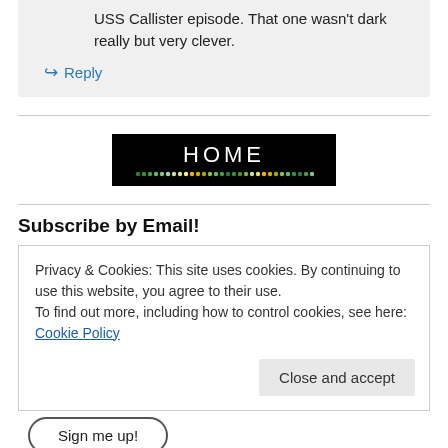USS Callister episode. That one wasn't dark really but very clever.
↳ Reply
[Figure (other): HOME banner with black background, white text 'HOME' and a row of green/yellow dots beneath]
Subscribe by Email!
Privacy & Cookies: This site uses cookies. By continuing to use this website, you agree to their use.
To find out more, including how to control cookies, see here: Cookie Policy
Close and accept
Sign me up!